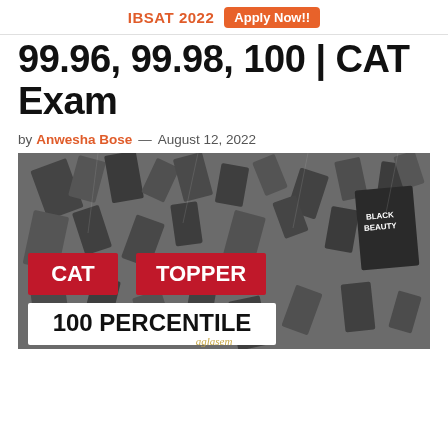IBSAT 2022  Apply Now!!
99.96, 99.98, 100 | CAT Exam
by Anwesha Bose — August 12, 2022
[Figure (photo): Black and white photo of books floating/flying in the air, with overlaid red and white text boxes reading 'CAT TOPPER' and '100 PERCENTILE', and 'aglasem' watermark.]